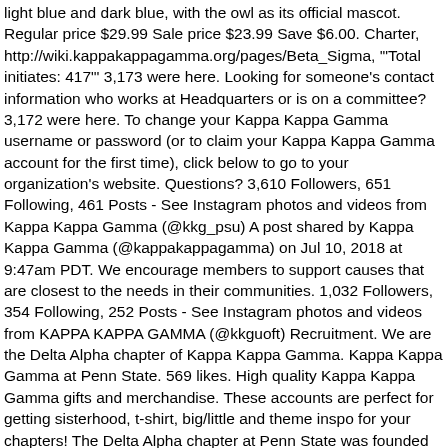light blue and dark blue, with the owl as its official mascot. Regular price $29.99 Sale price $23.99 Save $6.00. Charter, http://wiki.kappakappagamma.org/pages/Beta_Sigma, '"Total initiates: 417"' 3,173 were here. Looking for someone's contact information who works at Headquarters or is on a committee? 3,172 were here. To change your Kappa Kappa Gamma username or password (or to claim your Kappa Kappa Gamma account for the first time), click below to go to your organization's website. Questions? 3,610 Followers, 651 Following, 461 Posts - See Instagram photos and videos from Kappa Kappa Gamma (@kkg_psu) A post shared by Kappa Kappa Gamma (@kappakappagamma) on Jul 10, 2018 at 9:47am PDT. We encourage members to support causes that are closest to the needs in their communities. 1,032 Followers, 354 Following, 252 Posts - See Instagram photos and videos from KAPPA KAPPA GAMMA (@kkguoft) Recruitment. We are the Delta Alpha chapter of Kappa Kappa Gamma. Kappa Kappa Gamma at Penn State. 569 likes. High quality Kappa Kappa Gamma gifts and merchandise. These accounts are perfect for getting sisterhood, t-shirt, big/little and theme inspo for your chapters! The Delta Alpha chapter at Penn State was founded on October 3, 1930! From participating in philanthropies along with service events that hit close to home to fu...